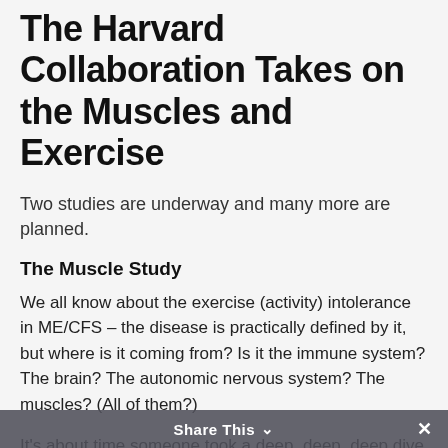The Harvard Collaboration Takes on the Muscles and Exercise
Two studies are underway and many more are planned.
The Muscle Study
We all know about the exercise (activity) intolerance in ME/CFS – the disease is practically defined by it, but where is it coming from? Is it the immune system? The brain? The autonomic nervous system? The muscles? (All of them?)
It's about time someone took a deep, deep, deep dive into the muscles in ME/CFS and that's what the Harvard Collaboration is doing. Tompkins described an
Share This ∨ ×